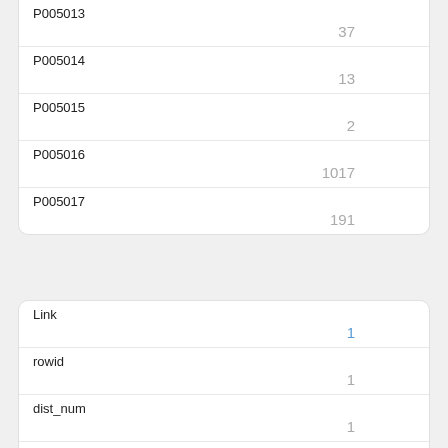| P005013 | 37 |
| P005014 | 13 |
| P005015 | 2 |
| P005016 | 1017 |
| P005017 | 191 |
| Link | 1 |
| rowid | 1 |
| dist_num | 1 |
| P003001 | 62781 |
| P003002 |  |